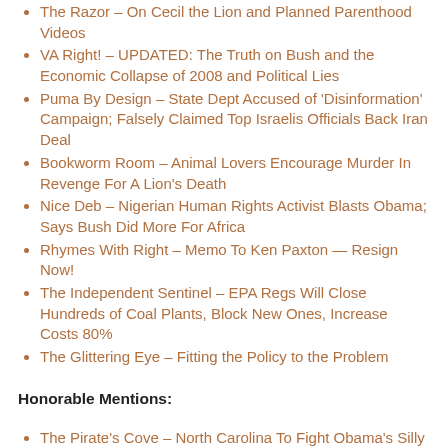The Razor – On Cecil the Lion and Planned Parenthood Videos
VA Right! – UPDATED: The Truth on Bush and the Economic Collapse of 2008 and Political Lies
Puma By Design – State Dept Accused of 'Disinformation' Campaign; Falsely Claimed Top Israelis Officials Back Iran Deal
Bookworm Room – Animal Lovers Encourage Murder In Revenge For A Lion's Death
Nice Deb – Nigerian Human Rights Activist Blasts Obama; Says Bush Did More For Africa
Rhymes With Right – Memo To Ken Paxton — Resign Now!
The Independent Sentinel – EPA Regs Will Close Hundreds of Coal Plants, Block New Ones, Increase Costs 80%
The Glittering Eye – Fitting the Policy to the Problem
Honorable Mentions:
The Pirate's Cove – North Carolina To Fight Obama's Silly Climate Change Plan
Maggie's Notebook – Making Money on Benghazi With Big Contracts & Illegal Foreign Security
David Gerstman/Le·gal In·sur·rec·tion – Will Hillary and Schumer save Dems from themselves on Iran nuke deal?